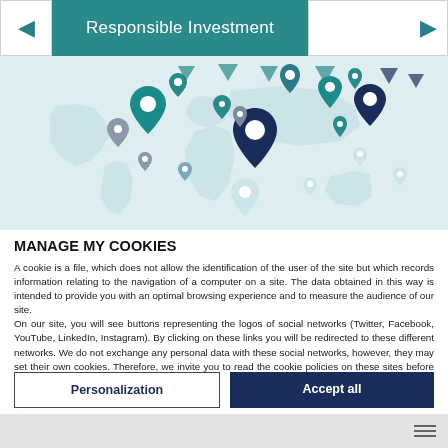Responsible Investment
[Figure (illustration): World map with location pin markers in teal, dark blue, and gray colors scattered across different continents]
Continue without accepting
MANAGE MY COOKIES
A cookie is a file, which does not allow the identification of the user of the site but which records information relating to the navigation of a computer on a site. The data obtained in this way is intended to provide you with an optimal browsing experience and to measure the audience of our site.
On our site, you will see buttons representing the logos of social networks (Twitter, Facebook, YouTube, LinkedIn, Instagram). By clicking on these links you will be redirected to these different networks. We do not exchange any personal data with these social networks, however, they may set their own cookies. Therefore, we invite you to read the cookie policies on these sites before browsing
View our cookie policy
Personalization
Accept all